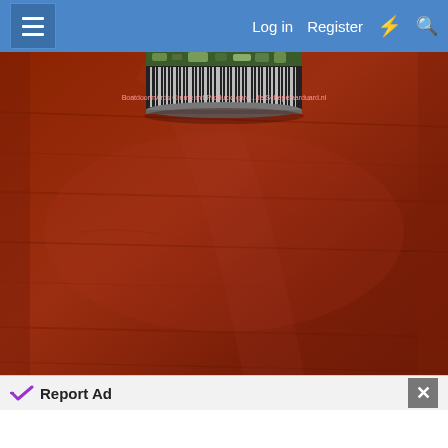Log in  Register
[Figure (photo): A small cylindrical metal container or jar with a colorful label (green camouflage-like pattern at top, barcode band in middle) sitting on a reddish-brown wooden table surface. The photo shows mostly the table with the bottom portion of the container visible at the top-center of the frame.]
Report Ad